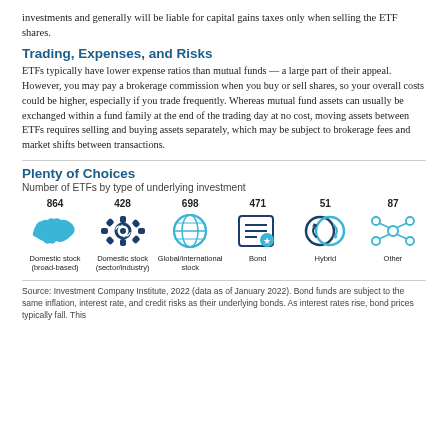investments and generally will be liable for capital gains taxes only when selling the ETF shares.
Trading, Expenses, and Risks
ETFs typically have lower expense ratios than mutual funds — a large part of their appeal. However, you may pay a brokerage commission when you buy or sell shares, so your overall costs could be higher, especially if you trade frequently. Whereas mutual fund assets can usually be exchanged within a fund family at the end of the trading day at no cost, moving assets between ETFs requires selling and buying assets separately, which may be subject to brokerage fees and market shifts between transactions.
Plenty of Choices
Number of ETFs by type of underlying investment
[Figure (infographic): Six icons representing ETF types with counts: Domestic stock (broad-based) 864, Domestic stock (sector/industry) 428, Global/international stock 698, Bond 471, Hybrid 51, Other 87]
Source: Investment Company Institute, 2022 (data as of January 2022). Bond funds are subject to the same inflation, interest rate, and credit risks as their underlying bonds. As interest rates rise, bond prices typically fall. This